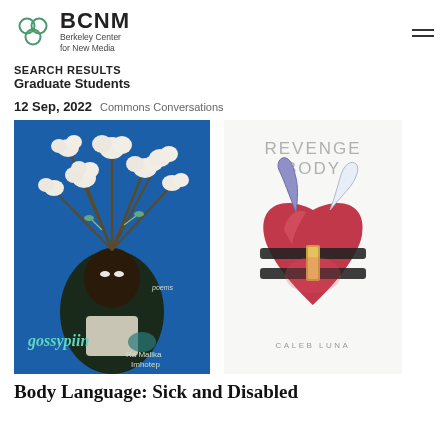BCNM Berkeley Center for New Media
SEARCH RESULTS
Graduate Students
12 Sep, 2022  Commons Conversations
[Figure (illustration): Left: Book cover of 'gossypiin' by Ra Malika Imhotep — illustration of a person with cotton plants growing from their head on a blue background. Right: Book cover of 'Revenge Body' by Caleb Luna — illustration of an anatomical heart wrapped in black straps on a white background.]
Body Language: Sick and Disabled